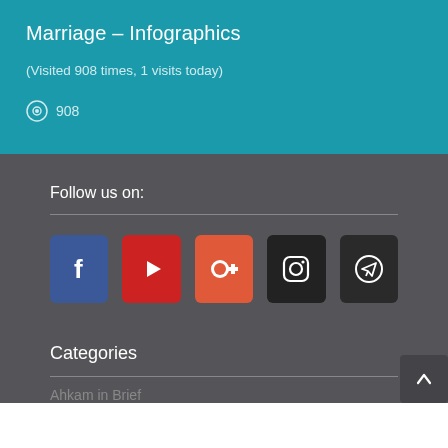Marriage – Infographics
(Visited 908 times, 1 visits today)
908
Follow us on:
[Figure (infographic): Social media icon buttons: Facebook (blue), YouTube (red), Google+ (orange-red), Instagram (black), Telegram (dark)]
Categories
Ahkam in Brief